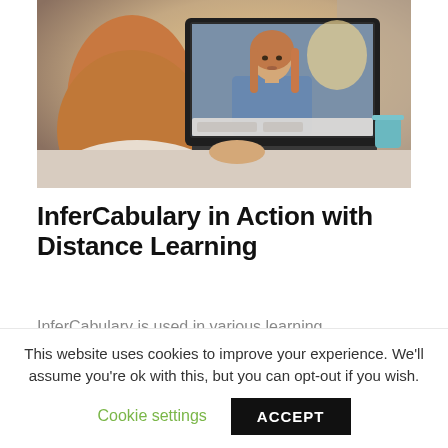[Figure (photo): A person viewed from behind sitting at a desk using a laptop, on screen is a video call showing a young woman with long hair speaking, background is blurred with warm tones.]
InferCabulary in Action with Distance Learning
InferCabulary is used in various learning
This website uses cookies to improve your experience. We'll assume you're ok with this, but you can opt-out if you wish.
Cookie settings
ACCEPT